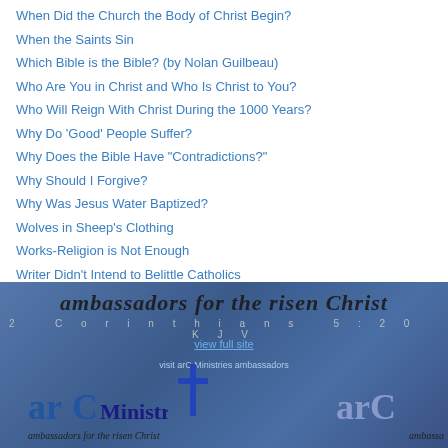When Did the Church the Body of Christ Begin?
When the Saints Sin
Which Bible is the Bible? (by Nolan Guilbeau)
Who Are You in Christ and Who Is Christ to You?
Who Will Reign With Christ During the 1000 Years?
Why Do 'Good' People Suffer?
Why Does the Bible Have "Contradictions?"
Why Should I Forgive?
Why Was Jesus Water Baptized?
Wolves in Sheep's Clothing
Works-Religion is Not Enough
Writer Didn't Intend to Belittle Catholics
[Figure (logo): arC Ministries banner with text 'ambassadors for the risen Christ' and '2 Corinthians 5:20 KJV', featuring arC Ministries logo with cross and tagline 'ambassadors for the risen Christ']